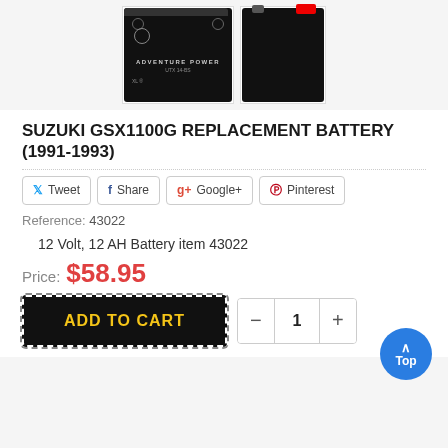[Figure (photo): Two product photos of a black motorcycle battery (Adventure Power brand), one showing the front label and one showing the side/back.]
SUZUKI GSX1100G REPLACEMENT BATTERY (1991-1993)
Tweet  Share  Google+  Pinterest
Reference: 43022
12 Volt, 12 AH Battery item 43022
Price: $58.95
ADD TO CART
- 1 +